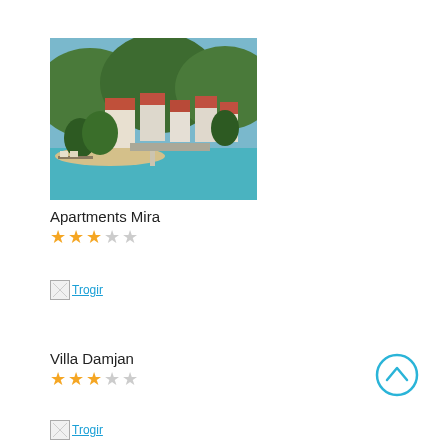[Figure (photo): Aerial view of coastal town with red-roofed buildings, green trees, and turquoise water (Apartments Mira property photo)]
Apartments Mira
★★★☆☆ (3 out of 5 stars)
[Figure (other): Broken image placeholder with link text 'Trogir']
Villa Damjan
★★★☆☆ (3 out of 5 stars)
[Figure (other): Broken image placeholder with link text 'Trogir']
[Figure (other): Scroll-to-top button circle with up chevron]